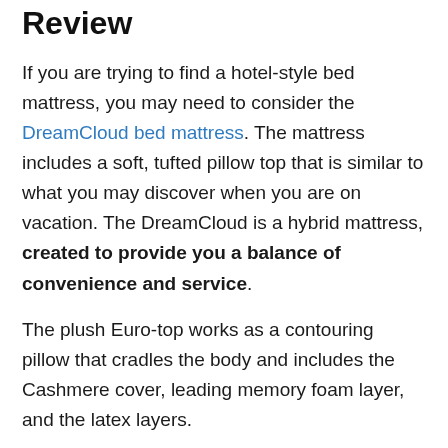Review
If you are trying to find a hotel-style bed mattress, you may need to consider the DreamCloud bed mattress. The mattress includes a soft, tufted pillow top that is similar to what you may discover when you are on vacation. The DreamCloud is a hybrid mattress, created to provide you a balance of convenience and service.
The plush Euro-top works as a contouring pillow that cradles the body and includes the Cashmere cover, leading memory foam layer, and the latex layers.
Reinforced sidewalls provide unequaled edge assistance for constant sleep quality from border